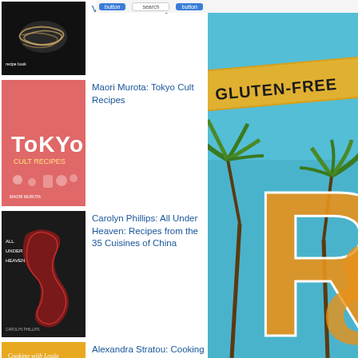[Figure (photo): Book cover - dark background with noodles dish, partially visible title]
Vietnamese Family Kitchen
[Figure (photo): Book cover - pink background, Tokyo Cult Recipes with illustrated city icons]
Maori Murota: Tokyo Cult Recipes
[Figure (photo): Book cover - black background with red dragon, All Under Heaven]
Carolyn Phillips: All Under Heaven: Recipes from the 35 Cuisines of China
[Figure (photo): Book cover - yellow/gold background, Cooking with Loula]
Alexandra Stratou: Cooking with Loula: Greek Recipes from My Family to Yours
[Figure (photo): Right side: close-up of a gluten-free product bag with tropical design, palm trees, and partial letter R visible, teal/blue background with gold banner reading GLUTEN-FREE]